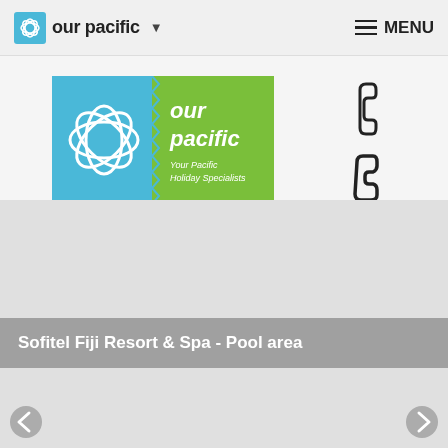our pacific ▼  MENU
[Figure (logo): Our Pacific logo - blue and green rectangle with flower/cross motif and text 'our pacific - Your Pacific Holiday Specialists']
[Figure (illustration): Three contact icons on right side: telephone receiver icon, envelope/mail icon, and speech bubble with question mark icon]
[Figure (photo): Sofitel Fiji Resort & Spa pool area photo (slideshow image area, appears blank/grey)]
Sofitel Fiji Resort & Spa - Pool area